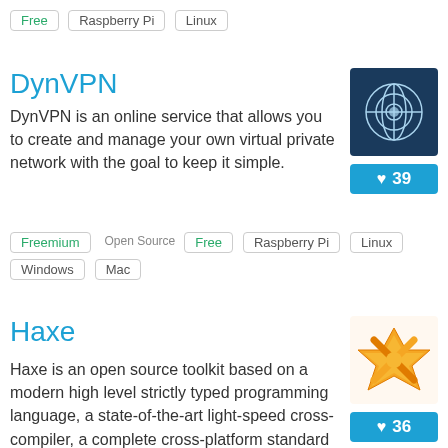Free  Raspberry Pi  Linux
DynVPN
DynVPN is an online service that allows you to create and manage your own virtual private network with the goal to keep it simple.
Freemium  Open Source Free  Raspberry Pi  Linux  Windows  Mac
[Figure (logo): DynVPN logo: dark blue square with white globe/network icon]
[Figure (infographic): Heart like badge showing 39]
Haxe
Haxe is an open source toolkit based on a modern high level strictly typed programming language, a state-of-the-art light-speed cross-compiler, a complete cross-platform standard library, and ways to access to each platform's native capabilities. Wi…
[Figure (logo): Haxe logo: orange/yellow X star shape on white background]
[Figure (infographic): Heart like badge showing 36]